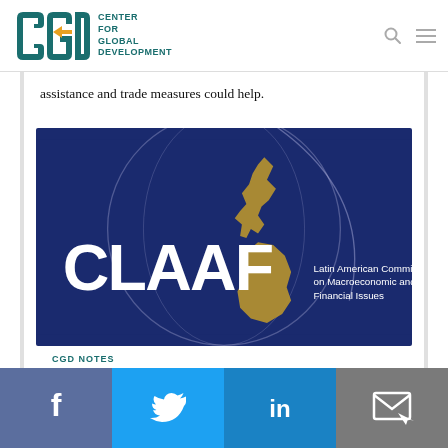CGD — Center for Global Development
assistance and trade measures could help.
[Figure (logo): CLAAF logo — Latin American Committee on Macroeconomic and Financial Issues. Dark navy blue background with a globe outline and gold silhouette map of the Americas. Large white text 'CLAAF' and smaller white text 'Latin American Committee on Macroeconomic and Financial Issues'.]
CGD NOTES
Social share bar: Facebook, Twitter, LinkedIn, Email